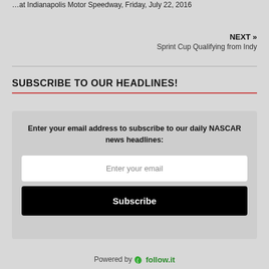...at Indianapolis Motor Speedway, Friday, July 22, 2016
NEXT » Sprint Cup Qualifying from Indy
SUBSCRIBE TO OUR HEADLINES!
Enter your email address to subscribe to our daily NASCAR news headlines:
Enter your email
Subscribe
Powered by follow.it